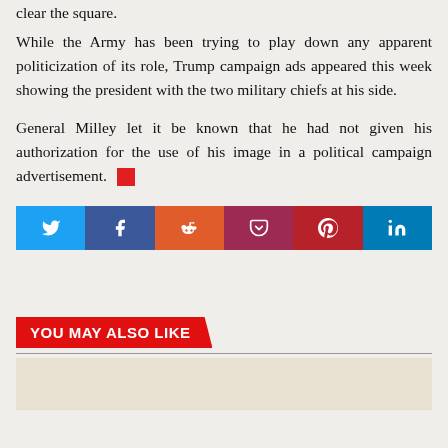clear the square.
While the Army has been trying to play down any apparent politicization of its role, Trump campaign ads appeared this week showing the president with the two military chiefs at his side.
General Milley let it be known that he had not given his authorization for the use of his image in a political campaign advertisement. [red square]
[Figure (infographic): Social media share bar with Twitter (light blue), Facebook (dark blue), Reddit (orange), Pocket (dark red), Pinterest (red), LinkedIn (blue) icons]
YOU MAY ALSO LIKE
[Figure (photo): Beige/tan placeholder image area below the 'You May Also Like' section]